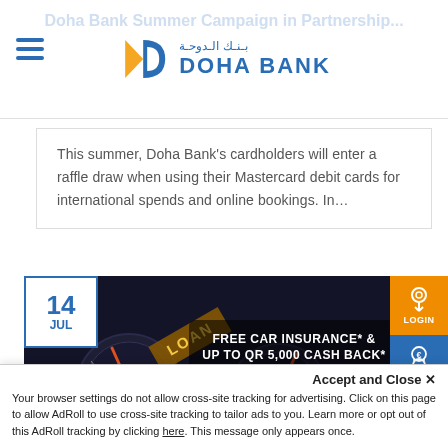Doha Bank Summer Campaign in Partnership... | DOHA BANK
This summer, Doha Bank's cardholders will enter a raffle draw when using their Mastercard debit cards for international spends and online bookings. In…
[Figure (photo): Doha Bank car loan advertisement showing car dashboard gauges with text 'FREE CAR INSURANCE* & UP TO QR 5,000 CASH BACK*' and bullet points about interest rates and benefits. Date badge shows 14 JUL.]
Accept and Close ✕
Your browser settings do not allow cross-site tracking for advertising. Click on this page to allow AdRoll to use cross-site tracking to tailor ads to you. Learn more or opt out of this AdRoll tracking by clicking here. This message only appears once.